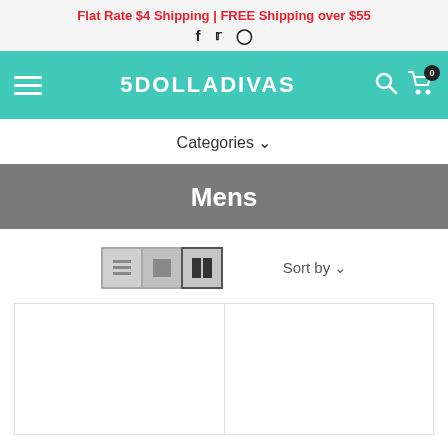Flat Rate $4 Shipping | FREE Shipping over $55
[Figure (screenshot): Navigation bar with hamburger menu, 5DOLLADIVAS logo, search and cart icons on teal background]
Categories ∨
Mens
[Figure (screenshot): View toggle buttons (list, grid, two-column) and Sort by dropdown]
[Figure (screenshot): Product grid showing two product cells side by side, empty white boxes]